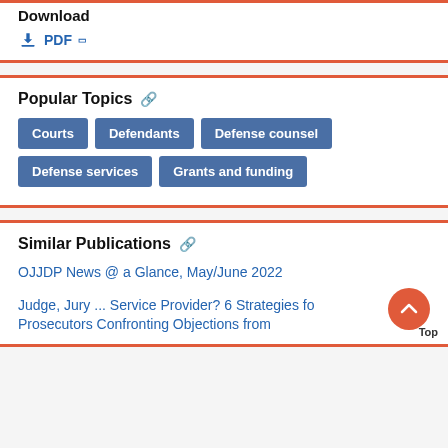Download
PDF
Popular Topics
Courts
Defendants
Defense counsel
Defense services
Grants and funding
Similar Publications
OJJDP News @ a Glance, May/June 2022
Judge, Jury ... Service Provider? 6 Strategies for Prosecutors Confronting Objections from